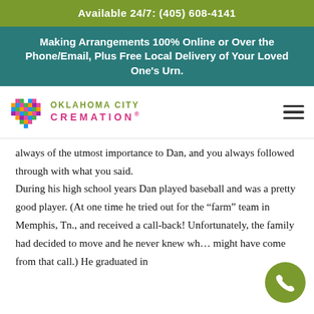Available 24/7: (405) 608-4141
Making Arrangements 100% Online or Over the Phone/Email, Plus Free Local Delivery of Your Loved One's Urn.
[Figure (logo): Oklahoma City Cremation logo with colorful mosaic heart and text]
always of the utmost importance to Dan, and you always followed through with what you said. During his high school years Dan played baseball and was a pretty good player. (At one time he tried out for the "farm" team in Memphis, Tn., and received a call-back! Unfortunately, the family had decided to move and he never knew wh… might have come from that call.) He graduated in